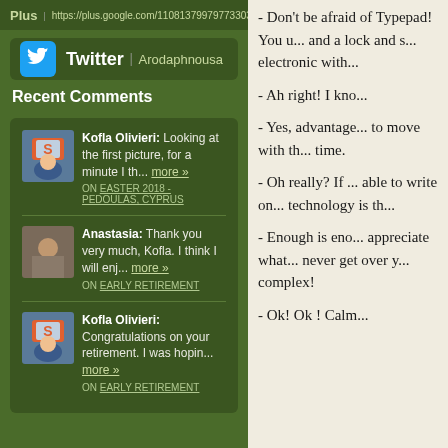Plus | https://plus.google.com/110813799797733032...
Twitter | Arodaphnousa
Recent Comments
Kofla Olivieri: Looking at the first picture, for a minute I th... more »
ON EASTER 2018 - PEDOULAS, CYPRUS
Anastasia: Thank you very much, Kofla. I think I will enj... more »
ON EARLY RETIREMENT
Kofla Olivieri: Congratulations on your retirement. I was hopin... more »
ON EARLY RETIREMENT
- Don't be afraid of Typepad! You u... and a lock and s... electronic with...
- Ah right! I kno...
- Yes, advantage... to move with th... time.
- Oh really?  If ... able to write on... technology is th...
- Enough is eno... appreciate what... never get over y... complex!
- Ok! Ok ! Calm...